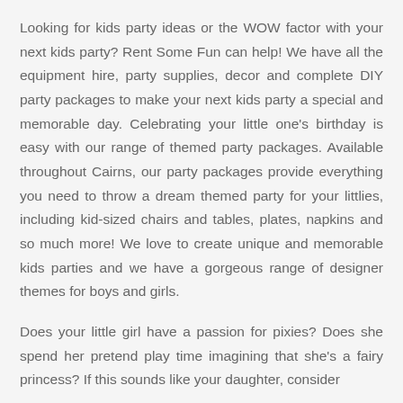Looking for kids party ideas or the WOW factor with your next kids party? Rent Some Fun can help! We have all the equipment hire, party supplies, decor and complete DIY party packages to make your next kids party a special and memorable day. Celebrating your little one's birthday is easy with our range of themed party packages. Available throughout Cairns, our party packages provide everything you need to throw a dream themed party for your littlies, including kid-sized chairs and tables, plates, napkins and so much more! We love to create unique and memorable kids parties and we have a gorgeous range of designer themes for boys and girls.
Does your little girl have a passion for pixies? Does she spend her pretend play time imagining that she's a fairy princess? If this sounds like your daughter, consider